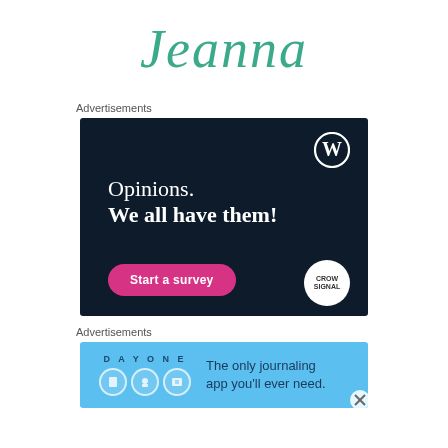Jeanna
Advertisements
[Figure (screenshot): Dark navy advertisement for CrowdSignal/WordPress with text 'Opinions. We all have them!' and a pink 'Start a survey' button. WordPress logo in top right corner, CrowdSignal logo in bottom right.]
Advertisements
[Figure (screenshot): Light blue advertisement for Day One journaling app with text 'The only journaling app you'll ever need.' with app icons on left side.]